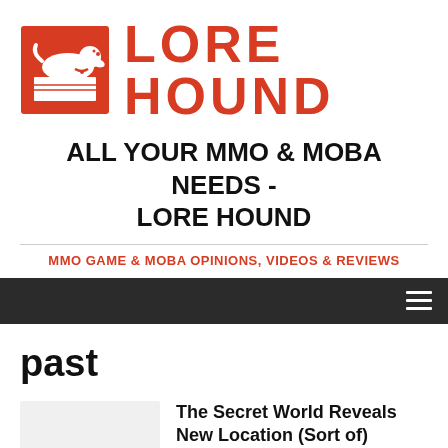[Figure (logo): Lore Hound logo: red dachshund reading a book inside a red-bordered square, with LORE HOUND text in large red bold letters to the right]
ALL YOUR MMO & MOBA NEEDS - LORE HOUND
MMO GAME & MOBA OPINIONS, VIDEOS & REVIEWS
[Figure (other): Dark navigation bar with hamburger menu icon on the right]
past
The Secret World Reveals New Location (Sort of)
January 25, 2012    LHStaff